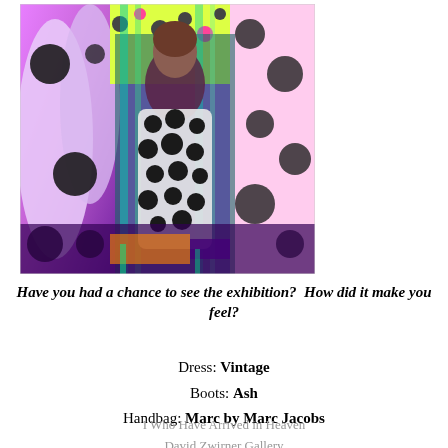[Figure (photo): Person standing in a colorful art installation with polka dot patterns in purple, pink, yellow and green. The person wears a black and white polka dot dress. Yayoi Kusama style infinity room with large white inflatable sculptures covered in black dots.]
Have you had a chance to see the exhibition?  How did it make you feel?
Dress: Vintage
Boots: Ash
Handbag: Marc by Marc Jacobs
I Who Have Arrived in Heaven
David Zwirner Gallery